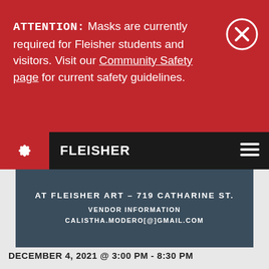ATTENTION: Masks are currently required for Fleisher students and visitors. Visit our Community Safety page for current safety guidelines.
[Figure (screenshot): Close (X) button circle icon on red background]
[Figure (logo): Fleisher Art Memorial logo and navigation bar with hamburger menu icon]
AT FLEISHER ART - 719 CATHARINE ST.
VENDOR INFORMATION
CALISTHA.MODERO[@]GMAIL.COM
DECEMBER 4, 2021 @ 3:00 PM - 8:30 PM